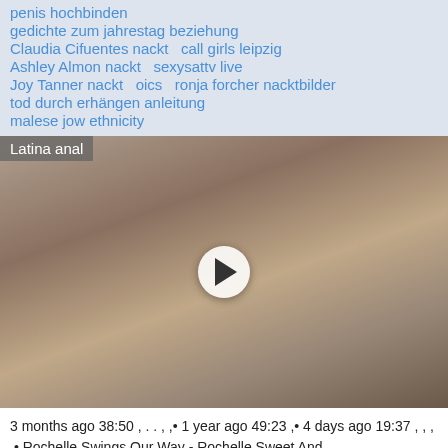penis hochbinden
gedichte zum jahrestag beziehung
Claudia Cifuentes nackt   call girls leipzig
Ashley Almon nackt   sexysattv live
Joy Tanner nackt   oics   ronja forcher nacktbilder
tod durch erhängen anleitung
malese jow ethnicity
[Figure (screenshot): Video thumbnail labeled 'Latina anal' with a play button overlay]
3 months ago 38:50 , . . , ,• 1 year ago 49:23 ,• 4 days ago 19:37 , , , ,• Rochelle Swings Our Way - Rochelle Sweet And